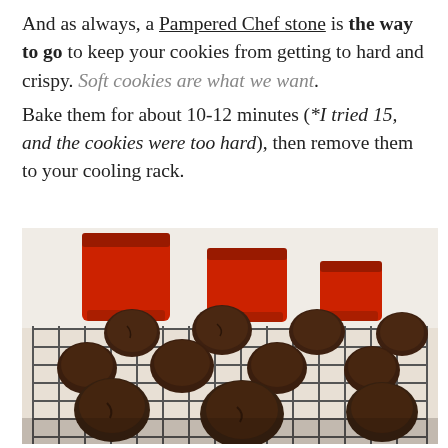And as always, a Pampered Chef stone is the way to go to keep your cookies from getting to hard and crispy. Soft cookies are what we want. Bake them for about 10-12 minutes (*I tried 15, and the cookies were too hard), then remove them to your cooling rack.
[Figure (photo): Chocolate cookies cooling on a wire rack with red canisters in the background]